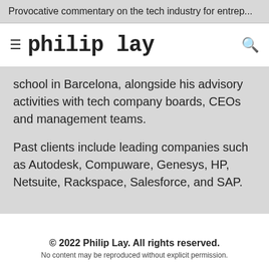Provocative commentary on the tech industry for entrep...
philip lay
school in Barcelona, alongside his advisory activities with tech company boards, CEOs and management teams.
Past clients include leading companies such as Autodesk, Compuware, Genesys, HP, Netsuite, Rackspace, Salesforce, and SAP.
© 2022 Philip Lay. All rights reserved. No content may be reproduced without explicit permission.